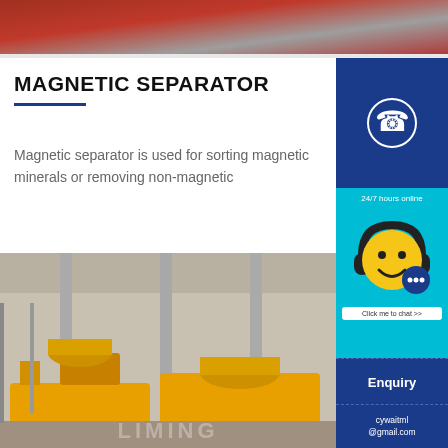[Figure (photo): Top banner photo showing red industrial equipment parts close-up]
MAGNETIC SEPARATOR
Magnetic separator is used for sorting magnetic minerals or removing non-magnetic
[Figure (photo): Blue square with white telephone/phone icon]
[Figure (photo): Cyan/teal sidebar panel showing 24/7 hours online with smiley face wearing headphones and chat button]
24/7 hours online
Click me to chat >>
Enquiry
cywaitml @gmail.com
[Figure (photo): Industrial factory interior with yellow magnetic separator machines on conveyor lines]